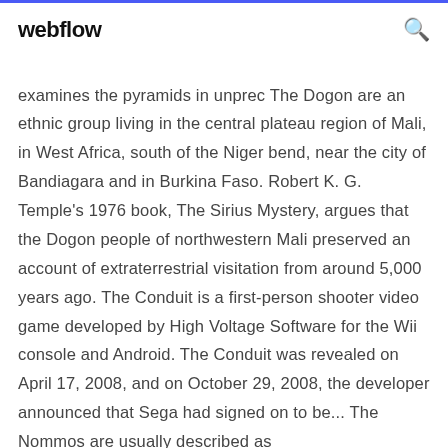webflow
examines the pyramids in unprec The Dogon are an ethnic group living in the central plateau region of Mali, in West Africa, south of the Niger bend, near the city of Bandiagara and in Burkina Faso. Robert K. G. Temple's 1976 book, The Sirius Mystery, argues that the Dogon people of northwestern Mali preserved an account of extraterrestrial visitation from around 5,000 years ago. The Conduit is a first-person shooter video game developed by High Voltage Software for the Wii console and Android. The Conduit was revealed on April 17, 2008, and on October 29, 2008, the developer announced that Sega had signed on to be... The Nommos are usually described as